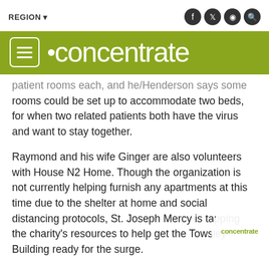REGION
[Figure (logo): Concentrate magazine logo — white text on olive/green background with hamburger menu icon]
patient rooms each, and he/Henderson says some rooms could be set up to accommodate two beds, for when two related patients both have the virus and want to stay together.
Raymond and his wife Ginger are also volunteers with House N2 Home. Though the organization is not currently helping furnish any apartments at this time due to the shelter at home and social distancing protocols, St. Joseph Mercy is tapping the charity's resources to help get the Towsley Building ready for the surge.